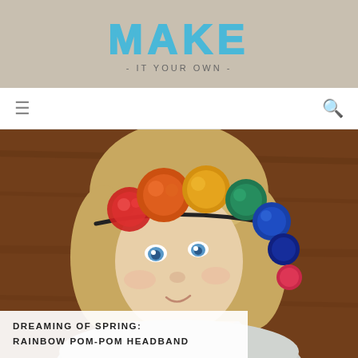MAKE - IT YOUR OWN -
[Figure (photo): A young girl with a bob haircut and blue eyes wearing a colorful rainbow pom-pom headband, photographed against a warm brown blurred background. She is smiling slightly and wearing a light grey top.]
DREAMING OF SPRING: RAINBOW POM-POM HEADBAND